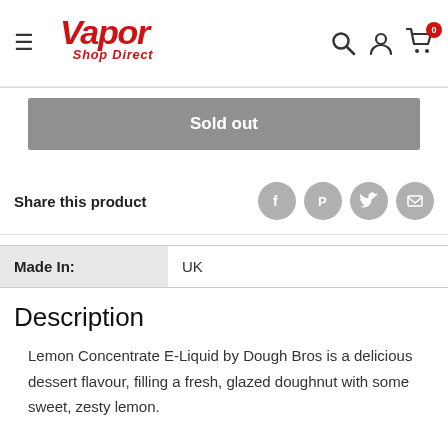[Figure (logo): Vapor Shop Direct logo in red italic with hamburger menu icon on left and search, account, cart icons on right]
Sold out
Share this product
| Made In: | UK |
| --- | --- |
Description
Lemon Concentrate E-Liquid by Dough Bros is a delicious dessert flavour, filling a fresh, glazed doughnut with some sweet, zesty lemon.